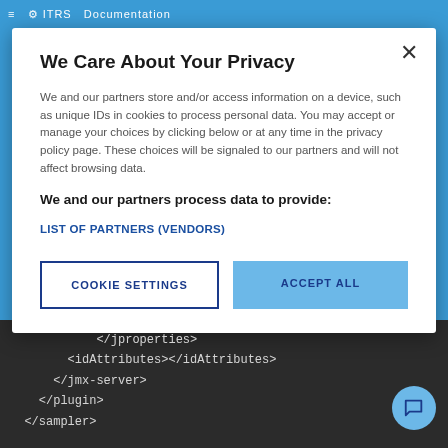[Figure (screenshot): ITRS Documentation website header bar with blue background, hamburger menu icon, ITRS gear logo, and search icon]
We Care About Your Privacy
We and our partners store and/or access information on a device, such as unique IDs in cookies to process personal data. You may accept or manage your choices by clicking below or at any time in the privacy policy page. These choices will be signaled to our partners and will not affect browsing data.
We and our partners process data to provide:
LIST OF PARTNERS (VENDORS)
COOKIE SETTINGS
ACCEPT ALL
[Figure (screenshot): Dark code editor panel showing XML closing tags: </jproperties>, <idAttributes></idAttributes>, </jmx-server>, </plugin>, </sampler>]